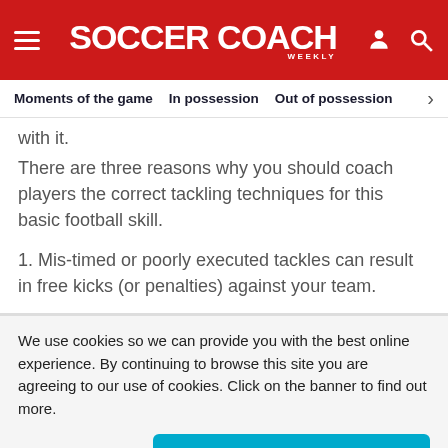SOCCER COACH WEEKLY
Moments of the game   In possession   Out of possession   >
with it.
There are three reasons why you should coach players the correct tackling techniques for this basic football skill.
1. Mis-timed or poorly executed tackles can result in free kicks (or penalties) against your team.
We use cookies so we can provide you with the best online experience. By continuing to browse this site you are agreeing to our use of cookies. Click on the banner to find out more.
Cookie Settings   ACCEPT ALL COOKIES